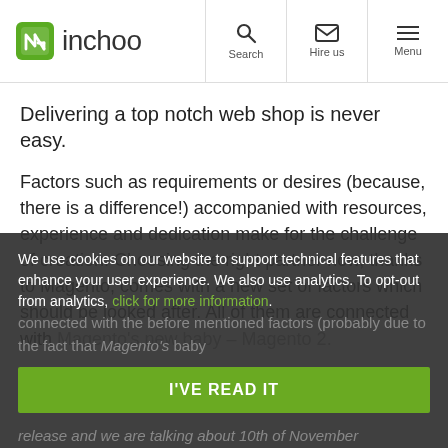inchoo | Search | Hire us | Menu
Delivering a top notch web shop is never easy.
Factors such as requirements or desires (because, there is a difference!) accompanied with resources, experience and dedication make for the challenge of creation. Choosing the right partner now, thanks to Magento, comes with a new set of factors which should be looked after. All of them are connected with Magento's new baby – Magento 2.
We use cookies on our website to support technical features that enhance your user experience. We also use analytics. To opt-out from analytics, click for more information.
I'VE READ IT